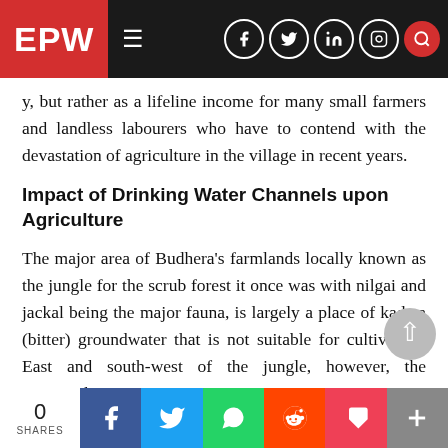EPW
y, but rather as a lifeline income for many small farmers and landless labourers who have to contend with the devastation of agriculture in the village in recent years.
Impact of Drinking Water Channels upon Agriculture
The major area of Budhera's farmlands locally known as the jungle for the scrub forest it once was with nilgai and jackal being the major fauna, is largely a place of kadwa (bitter) groundwater that is not suitable for cultivation. East and south-west of the jungle, however, the topography and texture changes drastically as one would and
0 SHARES  f  Twitter  WhatsApp  Reddit  Pocket  +